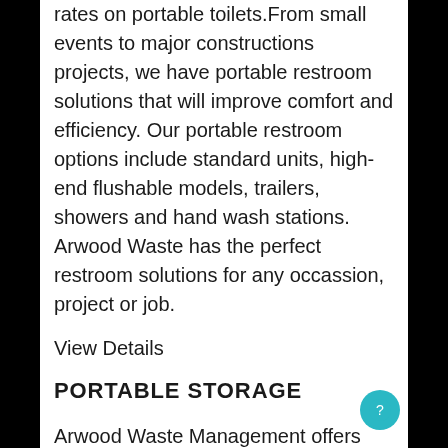rates on portable toilets.From small events to major constructions projects, we have portable restroom solutions that will improve comfort and efficiency. Our portable restroom options include standard units, high-end flushable models, trailers, showers and hand wash stations. Arwood Waste has the perfect restroom solutions for any occassion, project or job.
View Details
PORTABLE STORAGE
Arwood Waste Management offers the best rates on portable storage.We have portable storage, as well as moving and shipping options for both residential and commercial uses. An